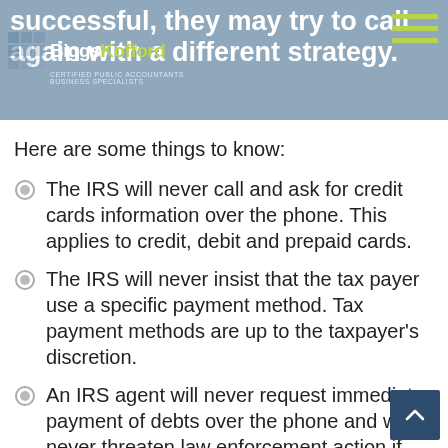successful, they may try to call again with a different strategy.
[Figure (logo): BiggsKofford Certified Public Accountants Business Specialists logo with grid icon]
Here are some things to know:
The IRS will never call and ask for credit cards information over the phone. This applies to credit, debit and prepaid cards.
The IRS will never insist that the tax payer use a specific payment method. Tax payment methods are up to the taxpayer's discretion.
An IRS agent will never request immediate payment of debts over the phone and will never threaten law enforcement action if you refuse to pay following a phone conversation.